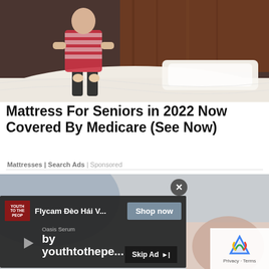[Figure (photo): Person leaning over a white mattress on a bed frame in a room with dark wood paneling]
Mattress For Seniors in 2022 Now Covered By Medicare (See Now)
Mattresses | Search Ads | Sponsored
[Figure (screenshot): Video ad overlay showing 'Flycam Deo Hai V...' with Shop now button, play button, Oasis Serum by youthtothepe... text, Skip Ad button, and reCAPTCHA privacy badge in corner]